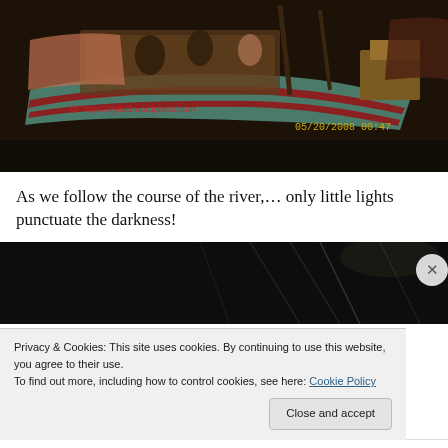[Figure (photo): Night scene of fishing boats on a river, with a date stamp '05/20/2008 00:47' and watermark 'https://zylla3.wordpress.com' in the bottom-left area of the image.]
As we follow the course of the river,… only little lights punctuate the darkness!
[Figure (photo): Dark nighttime river scene with faint light streaks visible against a very dark background.]
Privacy & Cookies: This site uses cookies. By continuing to use this website, you agree to their use.
To find out more, including how to control cookies, see here: Cookie Policy